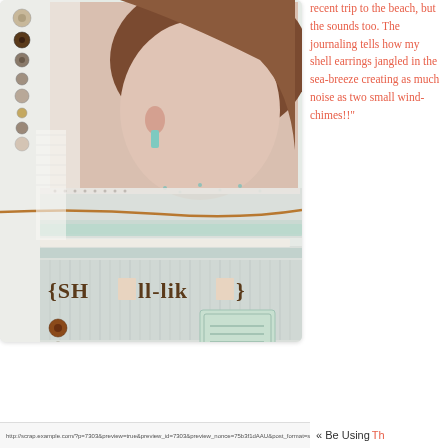[Figure (photo): Scrapbook layout page showing a photo of a woman with brown hair (close-up of ear and hair with a shell earring), decorated with buttons, ribbons, lace, and text '{SH_ll-lik_}' in brown letters on a light background with mint green and neutral tones.]
recent trip to the beach, but the sounds too. The journaling tells how my shell earrings jangled in the sea-breeze creating as much noise as two small wind-chimes!!"
« Be Using Th...